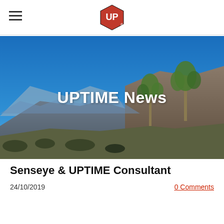[Figure (logo): UPTIME hexagonal logo with red background and white UP letters]
[Figure (photo): Desert mountain landscape with Joshua trees, blue sky, and rocky hills with text overlay UPTIME News]
UPTIME News
Senseye & UPTIME Consultant
24/10/2019
0 Comments